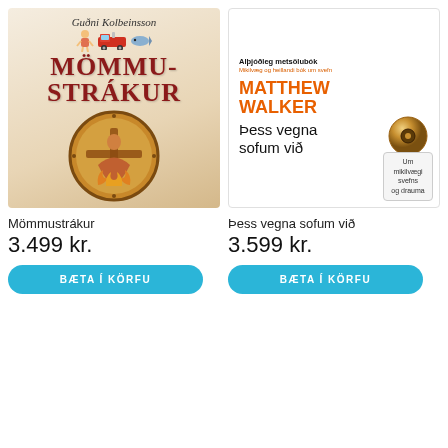[Figure (illustration): Book cover of Mömmustrákur by Guðni Kolbeinsson — cream/beige background with red bold title text, small illustrated figures (child, fire engine, fish) and a round medallion with indigenous/tribal art of a figure surrounded by flames]
Mömmustrákur
3.499 kr.
BÆTA Í KÖRFU
[Figure (illustration): Book cover of Þess vegna sofum við by Matthew Walker — white background, orange author name, black subtitle text, door hanger tag with text 'Um mikilvægi svefns og drauma' and a golden bell/knob image]
Þess vegna sofum við
3.599 kr.
BÆTA Í KÖRFU